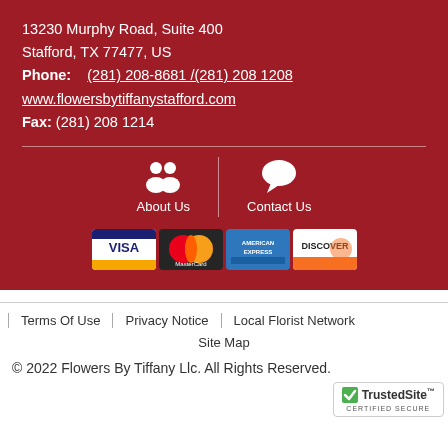13230 Murphy Road, Suite 400
Stafford, TX 77477, US
Phone: (281) 208-8681 /(281) 208 1208
www.flowersbytiffanystafford.com
Fax: (281) 208 1214
[Figure (infographic): About Us icon (two person silhouettes) and Contact Us icon (speech bubble) separated by a vertical divider]
[Figure (infographic): Four payment card logos: VISA, MasterCard, American Express, Discover]
Terms Of Use
Privacy Notice
Local Florist Network
Site Map
© 2022 Flowers By Tiffany Llc. All Rights Reserved.
[Figure (logo): TrustedSite Certified Secure badge]